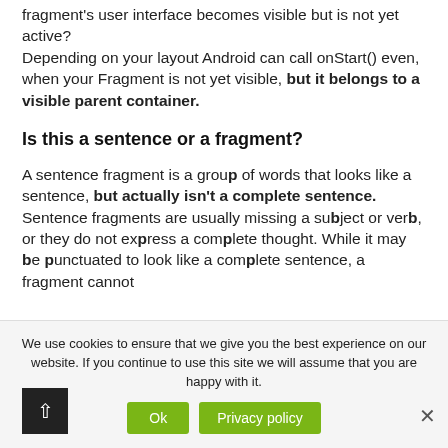fragment's user interface becomes visible but is not yet active? Depending on your layout Android can call onStart() even, when your Fragment is not yet visible, but it belongs to a visible parent container.
Is this a sentence or a fragment?
A sentence fragment is a group of words that looks like a sentence, but actually isn't a complete sentence. Sentence fragments are usually missing a subject or verb, or they do not express a complete thought. While it may be punctuated to look like a complete sentence, a fragment cannot
We use cookies to ensure that we give you the best experience on our website. If you continue to use this site we will assume that you are happy with it.